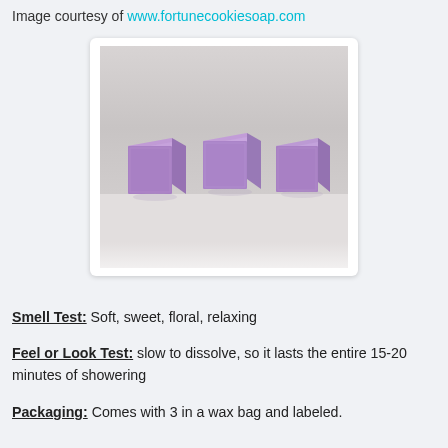Image courtesy of www.fortunecookiesoap.com
[Figure (photo): Three small purple/lavender foil-wrapped soap cubes sitting on a reflective white/grey surface]
Smell Test: Soft, sweet, floral, relaxing
Feel or Look Test: slow to dissolve, so it lasts the entire 15-20 minutes of showering
Packaging: Comes with 3 in a wax bag and labeled.